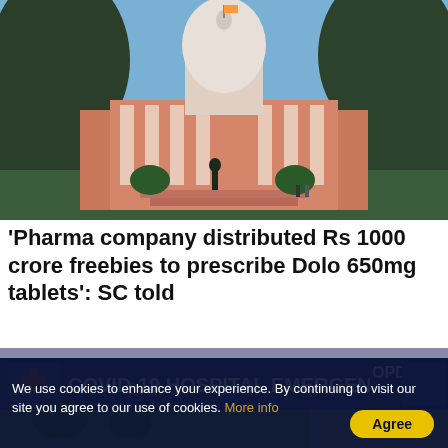[Figure (photo): Photograph of the Supreme Court of India building with dome, trees on either side, and a statue in front.]
'Pharma company distributed Rs 1000 crore freebies to prescribe Dolo 650mg tablets': SC told
[Figure (photo): COVID-19 Hospital Emergency & OPD sign on a building entrance.]
We use cookies to enhance your experience. By continuing to visit our site you agree to our use of cookies. More info